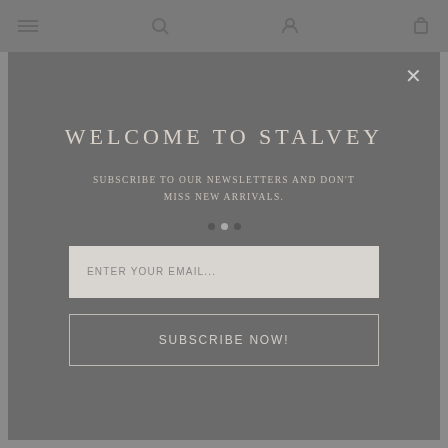Navigation bar with menu, search, account, and cart icons
[Figure (screenshot): Website modal popup for Stalvey newsletter subscription on a dark gray background with a blurred product page behind it]
WELCOME TO STALVEY
SUBSCRIBE TO OUR NEWSLETTERS AND DON'T MISS NEW ARRIVALS.
ENTER YOUR EMAIL...
SUBSCRIBE NOW!
Brighton Black Ostrich Porosus Crocodile Nile Croc $21,500.00